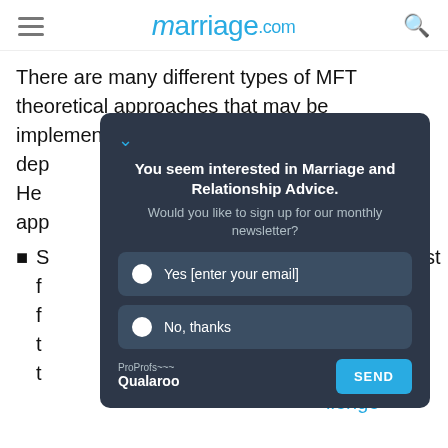marriage.com
There are many different types of MFT theoretical approaches that may be implemented in therapy, dep [obscured] em is. He [obscured] app [obscured]
S [obscured] herapist f [obscured] as a f [obscured] overn t [obscured] ter into t [obscured] he [obscured] llenge
[Figure (screenshot): Popup newsletter subscription widget from marriage.com with title 'You seem interested in Marriage and Relationship Advice.' and options 'Yes [enter your email]' and 'No, thanks', with a SEND button. Powered by ProProfs Qualaroo.]